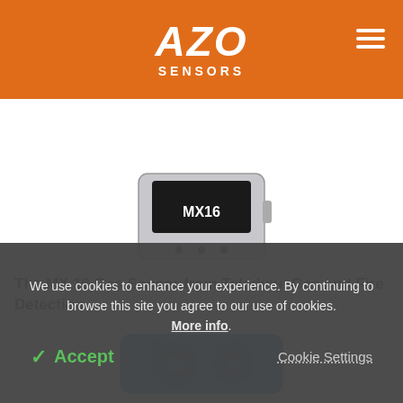[Figure (logo): AZO Sensors logo on orange header background with hamburger menu icon]
[Figure (infographic): Social sharing buttons bar: LinkedIn (blue), Facebook (dark blue), Twitter (light blue), Reddit (orange), Email (grey)]
[Figure (photo): MX16 gas sensor device, grey/white enclosure with black display showing MX16 label]
The MX 16 Gas Sensor from Teledyne Gas and Fire Detection
[Figure (photo): Blue gas sensor device with two circular sensor heads/ports visible]
We use cookies to enhance your experience. By continuing to browse this site you agree to our use of cookies. More info.
Accept   Cookie Settings